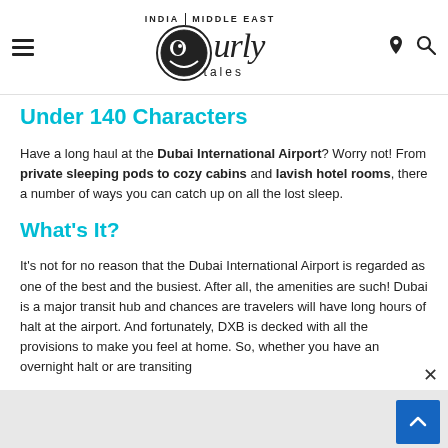Curly Tales — INDIA | MIDDLE EAST
Under 140 Characters
Have a long haul at the Dubai International Airport? Worry not! From private sleeping pods to cozy cabins and lavish hotel rooms, there a number of ways you can catch up on all the lost sleep.
What's It?
It's not for no reason that the Dubai International Airport is regarded as one of the best and the busiest. After all, the amenities are such! Dubai is a major transit hub and chances are travelers will have long hours of halt at the airport. And fortunately, DXB is decked with all the provisions to make you feel at home. So, whether you have an overnight halt or are transiting